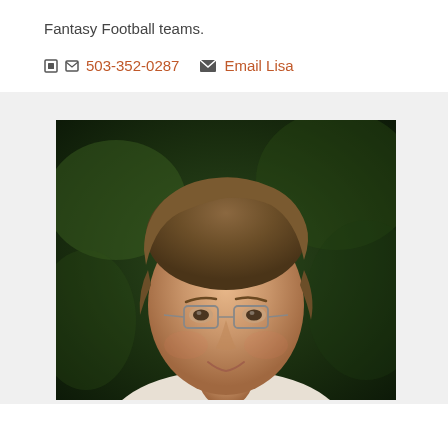Fantasy Football teams.
503-352-0287   Email Lisa
[Figure (photo): Headshot portrait of a middle-aged man with brown hair, wearing glasses, smiling slightly, set against a dark green blurred outdoor background.]